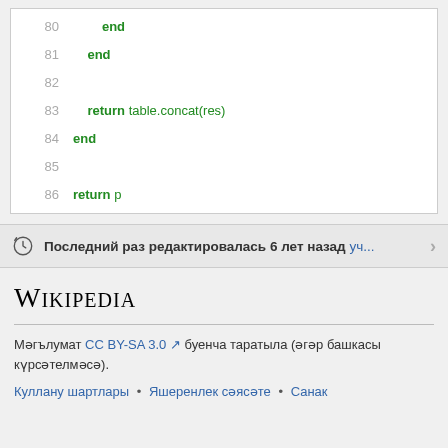[Figure (screenshot): Code block showing lines 80-86 of a Lua script with line numbers on the left in gray and code keywords in bold green. Lines show: 80: end (indented), 81: end (less indented), 82: (blank), 83: return table.concat(res) (indented), 84: end, 85: (blank), 86: return p]
Последний раз редактировалась 6 лет назад уч...
Wikipedia
Мәгълумат CC BY-SA 3.0 буенча таратыла (әгәр башкасы күрсәтелмәсә).
Куллану шартлары • Яшеренлек сәясәте • Санак